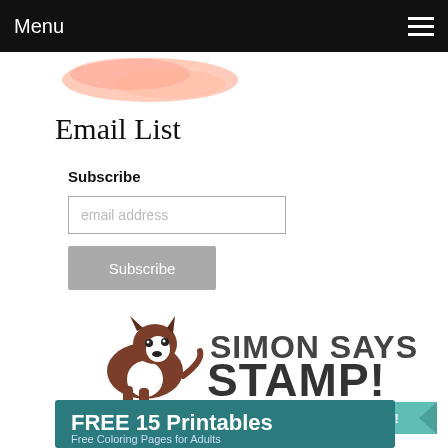Menu
[Figure (illustration): Watercolor pink/peach blob shape at top]
Email List
Subscribe
email address (input field placeholder)
Subscribe (button)
[Figure (logo): Simon Says Stamp logo with Boston Terrier dog and teal banner reading ONE STOP SHOP for stamping & papercrafting!]
[Figure (illustration): Teal banner with text FREE 15 Printables - Free Coloring Pages for Adults]